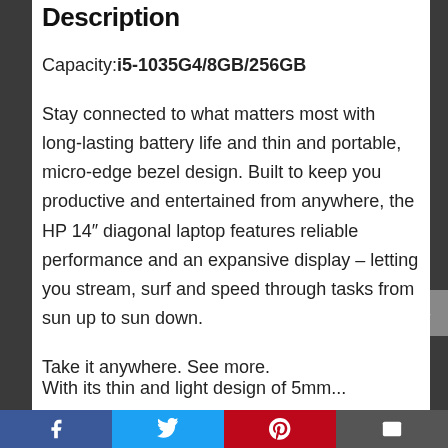Description
Capacity:i5-1035G4/8GB/256GB
Stay connected to what matters most with long-lasting battery life and thin and portable, micro-edge bezel design. Built to keep you productive and entertained from anywhere, the HP 14″ diagonal laptop features reliable performance and an expansive display – letting you stream, surf and speed through tasks from sun up to sun down.
Take it anywhere. See more.
With its thin and light design of 5mm...